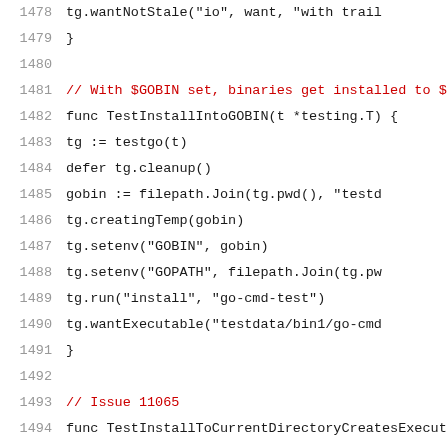[Figure (screenshot): Source code viewer showing Go language test functions with line numbers 1478-1499. Lines include function definitions, method calls, and comments in a monospace font on white background. Comments are shown in red/dark red, code in black, line numbers in gray.]